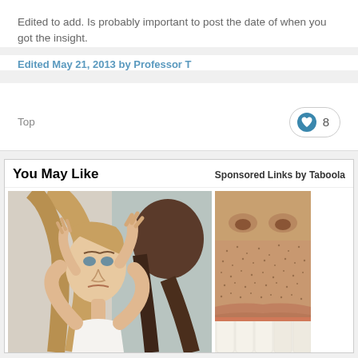Edited to add. Is probably important to post the date of when you got the insight.
Edited May 21, 2013 by Professor T
Top
8
You May Like
Sponsored Links by Taboola
[Figure (photo): Woman looking stressed, holding her head while looking in a mirror]
[Figure (photo): Close-up of a person's lower face showing teeth and stubble]